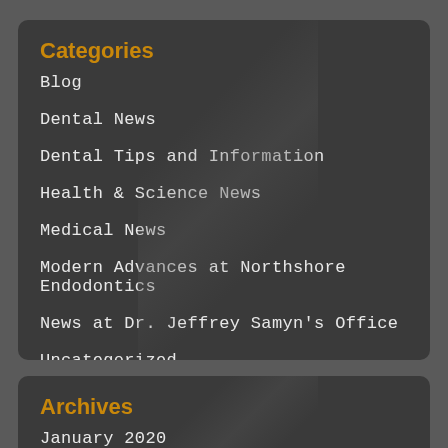Categories
Blog
Dental News
Dental Tips and Information
Health & Science News
Medical News
Modern Advances at Northshore Endodontics
News at Dr. Jeffrey Samyn's Office
Uncategorized
Archives
January 2020